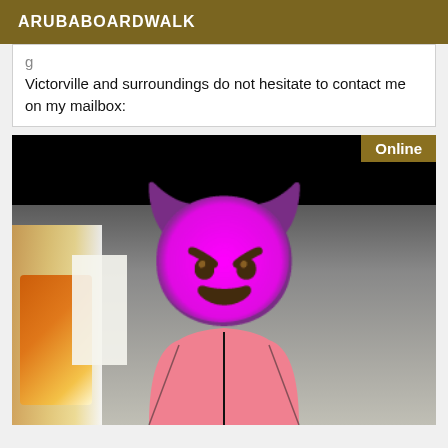ARUBABOARDWALK
Victorville and surroundings do not hesitate to contact me on my mailbox:
[Figure (photo): Person wearing pink shirt with face covered by a purple devil emoji (😈). An 'Online' badge appears in the top right corner of the photo. Background includes a room with orange/yellow light on the left side.]